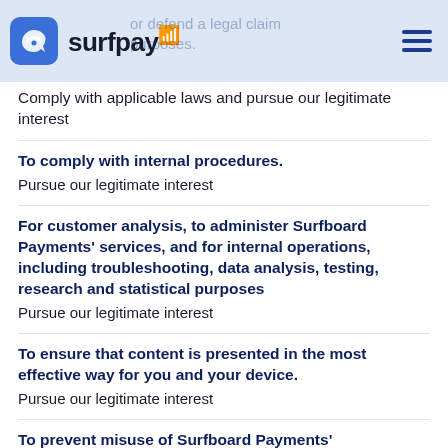surfpay
Comply with applicable laws and pursue our legitimate interest
To comply with internal procedures.
Pursue our legitimate interest
For customer analysis, to administer Surfboard Payments' services, and for internal operations, including troubleshooting, data analysis, testing, research and statistical purposes
Pursue our legitimate interest
To ensure that content is presented in the most effective way for you and your device.
Pursue our legitimate interest
To prevent misuse of Surfboard Payments'